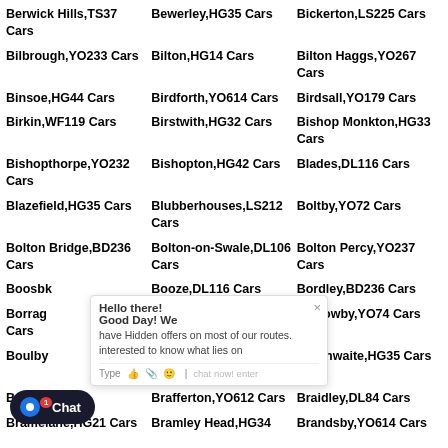Berwick Hills,TS37 Cars
Bewerley,HG35 Cars
Bickerton,LS225 Cars
Bilbrough,YO233 Cars
Bilton,HG14 Cars
Bilton Haggs,YO267 Cars
Binsoe,HG44 Cars
Birdforth,YO614 Cars
Birdsall,YO179 Cars
Birkin,WF119 Cars
Birstwith,HG32 Cars
Bishop Monkton,HG33 Cars
Bishopthorpe,YO232 Cars
Bishopton,HG42 Cars
Blades,DL116 Cars
Blazefield,HG35 Cars
Blubberhouses,LS212 Cars
Boltby,YO72 Cars
Bolton Bridge,BD236 Cars
Bolton-on-Swale,DL106 Cars
Bolton Percy,YO237 Cars
Boosbeck Cars
Booze,DL116 Cars
Bordley,BD236 Cars
Borrage Green Cars
Borrowby,TS135 Cars
Borrowby,YO74 Cars
Boulby Cars
Boulton Crofts,DL104 Cars
Bouthwaite,HG35 Cars
Bracken Hill Cars
Brafferton,YO612 Cars
Braidley,DL84 Cars
Bramley Head,HG34
Bramelane,HG31 Cars
Brandsby,YO614 Cars